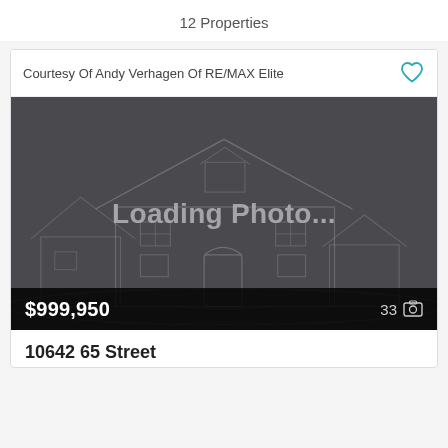12 Properties
Courtesy Of Andy Verhagen Of RE/MAX Elite
[Figure (photo): Loading photo placeholder showing a grey house illustration outline with text 'Loading Photo...' overlaid. Price bar at bottom shows $999,950 and 33 photos icon.]
10642 65 Street